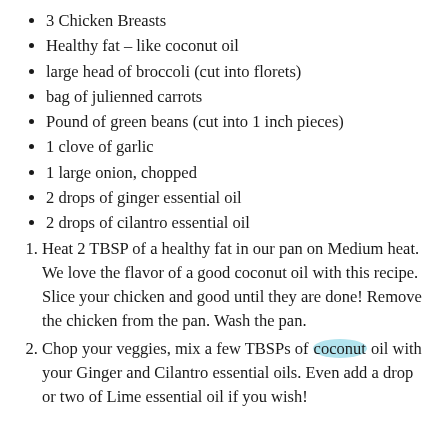3 Chicken Breasts
Healthy fat – like coconut oil
large head of broccoli (cut into florets)
bag of julienned carrots
Pound of green beans (cut into 1 inch pieces)
1 clove of garlic
1 large onion, chopped
2 drops of ginger essential oil
2 drops of cilantro essential oil
Heat 2 TBSP of a healthy fat in our pan on Medium heat. We love the flavor of a good coconut oil with this recipe. Slice your chicken and good until they are done! Remove the chicken from the pan. Wash the pan.
Chop your veggies, mix a few TBSPs of coconut oil with your Ginger and Cilantro essential oils. Even add a drop or two of Lime essential oil if you wish!